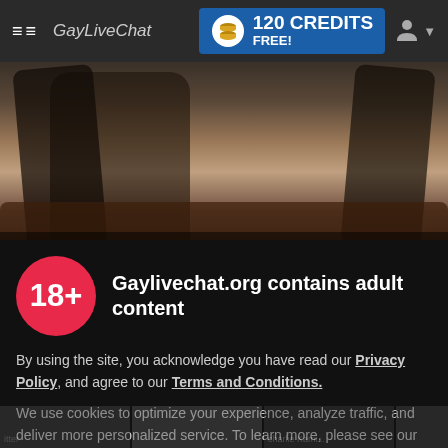≡≡  GayLiveChat   120 CREDITS FREE!
[Figure (photo): Young man in open black leather jacket reclining on a leather sofa, bare chest visible, dark pants, photographed in dark/moody lighting]
Gaylivechat.org contains adult content
By using the site, you acknowledge you have read our Privacy Policy, and agree to our Terms and Conditions.
We use cookies to optimize your experience, analyze traffic, and deliver more personalized service. To learn more, please see our Privacy Policy.
I AGREE